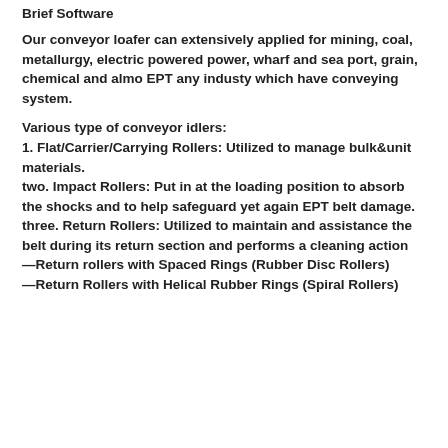Brief Software
Our conveyor loafer can extensively applied for mining, coal, metallurgy, electric powered power, wharf and sea port, grain, chemical and almo EPT any industy which have conveying system.
Various type of conveyor idlers:
1. Flat/Carrier/Carrying Rollers: Utilized to manage bulk&unit materials.
two. Impact Rollers: Put in at the loading position to absorb the shocks and to help safeguard yet again EPT belt damage.
three. Return Rollers: Utilized to maintain and assistance the belt during its return section and performs a cleaning action
—Return rollers with Spaced Rings (Rubber Disc Rollers)
—Return Rollers with Helical Rubber Rings (Spiral Rollers)